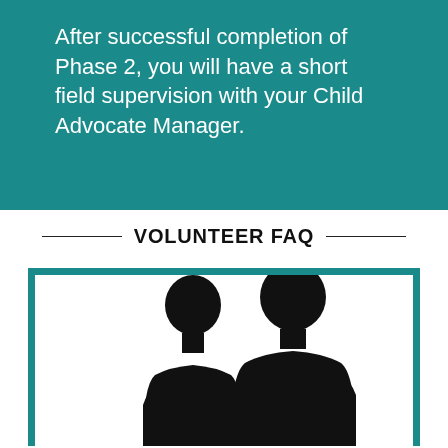After successful completion of Phase 2, you will have a short field supervision with your Child Advocate Manager.
VOLUNTEER FAQ
[Figure (illustration): Two silhouetted figures (a shorter female figure on the left and a taller male figure on the right) shown from shoulders up, on a white background inside a teal-bordered frame.]